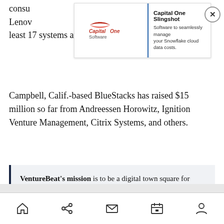consu... Lenov... n at least 17 systems at its CES booth this week.
[Figure (screenshot): Capital One Software advertisement banner showing 'Capital One Slingshot' with text 'Software to seamlessly manage your Snowflake cloud data costs.' and a close button.]
Campbell, Calif.-based BlueStacks has raised $15 million so far from Andreessen Horowitz, Ignition Venture Management, Citrix Systems, and others.
VentureBeat's mission is to be a digital town square for technical decision-makers to gain knowledge about transformative enterprise technology and transact. Learn more about membership.